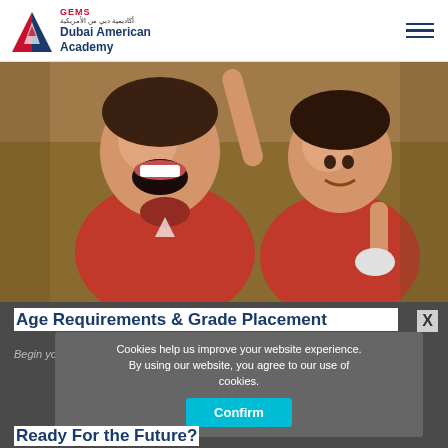[Figure (logo): GEMS Dubai American Academy logo with red/blue triangular emblem]
[Figure (photo): Two young children in red GEMS school uniforms, one laughing with hand raised, one looking down holding paper]
Age Requirements & Grade Placement
Begin your child's journey.
Cookies help us improve your website experience. By using our website, you agree to our use of cookies.
Confirm
Ready For the Future?